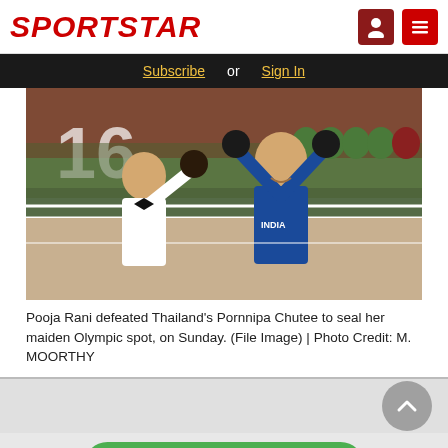SPORTSTAR
Subscribe or Sign In
[Figure (photo): Pooja Rani with arms raised in victory, referee beside her in boxing ring, crowd in background with number 16 visible]
Pooja Rani defeated Thailand's Pornnipa Chutee to seal her maiden Olympic spot, on Sunday. (File Image) | Photo Credit: M. MOORTHY
READ MORE
on Newz Online